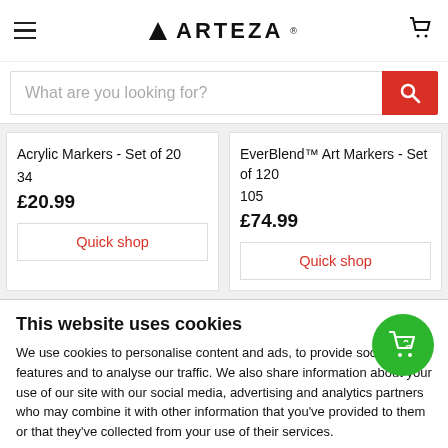ARTEZA
What are you looking for?
Acrylic Markers - Set of 20
34
£20.99
EverBlend™ Art Markers - Set of 120
105
£74.99
This website uses cookies
We use cookies to personalise content and ads, to provide social media features and to analyse our traffic. We also share information about your use of our site with our social media, advertising and analytics partners who may combine it with other information that you've provided to them or that they've collected from your use of their services.
OK
Show details